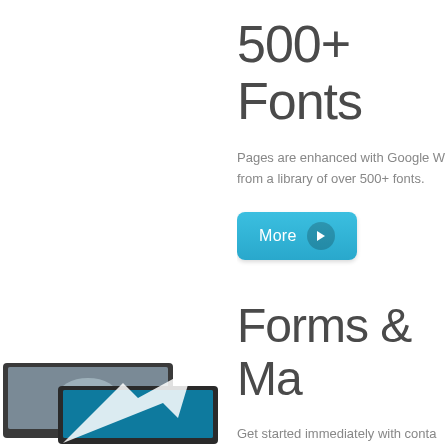500+ Fonts
Pages are enhanced with Google W… from a library of over 500+ fonts.
[Figure (other): Blue 'More' button with right-arrow icon]
Forms & Ma…
Get started immediately with conta… box. Includes Google maps integra…
[Figure (photo): Two overlapping laptop screens showing images, with a large white arrow diagonal across them]
LightBox
Display images, galleries, videos a…